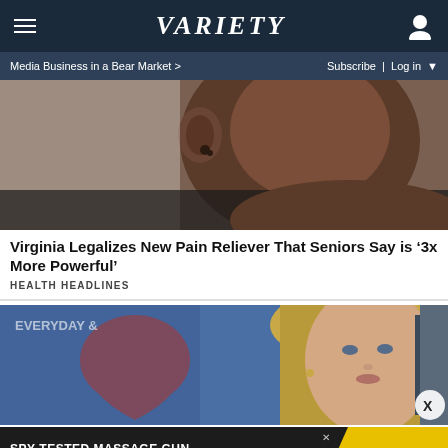VARIETY
Media Business in a Bear Market > | Subscribe | Log in
[Figure (photo): Close-up photo of a person's ear and face in profile, dark skin tone, blurred background]
Virginia Legalizes New Pain Reliever That Seniors Say is '3x More Powerful'
HEALTH HEADLINES
[Figure (photo): Blonde woman with serious expression, red heart graphic visible on blue background behind her]
[Figure (photo): Advertisement banner: SPY-TESTED MASSAGE GUN NOW JUST $79 with SPY logo on yellow background]